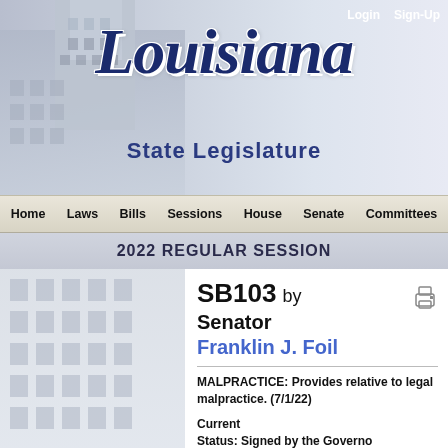[Figure (screenshot): Louisiana State Legislature website header with building photo background, Louisiana script logo, and State Legislature text]
Login  Sign-Up
Louisiana State Legislature
2022 REGULAR SESSION
SB103 by Senator Franklin J. Foil
MALPRACTICE:  Provides relative to legal malpractice. (7/1/22)
Current Status:  Signed by the Governor